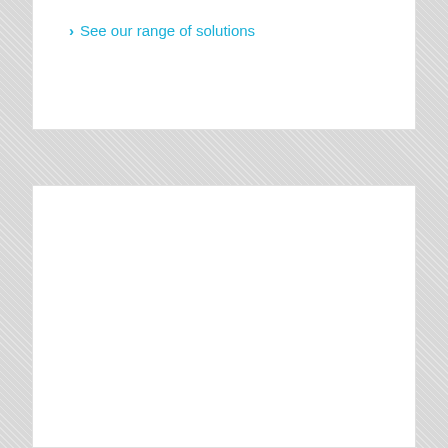See our range of solutions
[Figure (other): Empty white card/panel below a hatched gray background section]